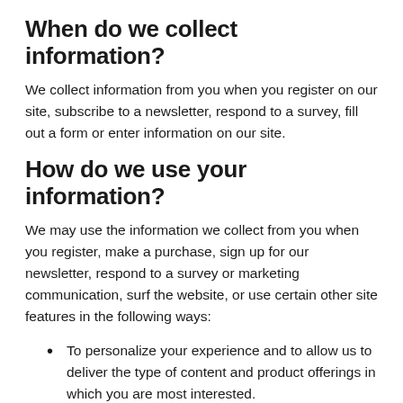When do we collect information?
We collect information from you when you register on our site, subscribe to a newsletter, respond to a survey, fill out a form or enter information on our site.
How do we use your information?
We may use the information we collect from you when you register, make a purchase, sign up for our newsletter, respond to a survey or marketing communication, surf the website, or use certain other site features in the following ways:
To personalize your experience and to allow us to deliver the type of content and product offerings in which you are most interested.
To allow us to better service you in responding to your customer service requests.